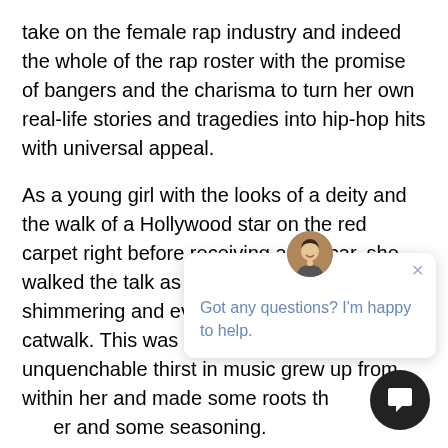take on the female rap industry and indeed the whole of the rap roster with the promise of bangers and the charisma to turn her own real-life stories and tragedies into hip-hop hits with universal appeal.
As a young girl with the looks of a deity and the walk of a Hollywood star on the red carpet right before receiving an Oscar, she walked the talk as a model on that shimmering and evocative glow of the catwalk. This was right before that unquenchable thirst in music grew up from within her and made some roots that needed water and some seasoning.
Getting on that studio bo[x and delivering it with] cinematic fashion as she delivers some tale on the big screens; her story will start with the high school drop[out] and the moment she found herself as a felon at o[ne of her] years of age. The trials and tribulations, the
[Figure (illustration): Chat support popup with avatar photo of a smiling man, close button (×), and text 'Got any questions? I'm happy to help.' overlaid on the main text content. A round black chat bubble button appears in the bottom-right corner.]